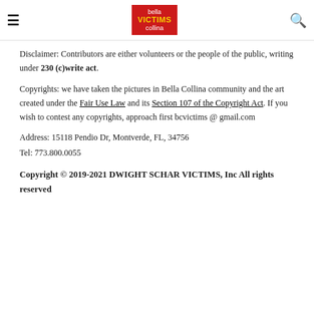[Figure (logo): Bella Victims Collina logo — red background with white text 'bella' and 'collina', yellow text 'VICTIMS']
Disclaimer: Contributors are either volunteers or the people of the public, writing under 230 (c)write act.
Copyrights: we have taken the pictures in Bella Collina community and the art created under the Fair Use Law and its Section 107 of the Copyright Act. If you wish to contest any copyrights, approach first bcvictims @ gmail.com
Address: 15118 Pendio Dr, Montverde, FL, 34756
Tel: 773.800.0055
Copyright © 2019-2021 DWIGHT SCHAR VICTIMS, Inc All rights reserved